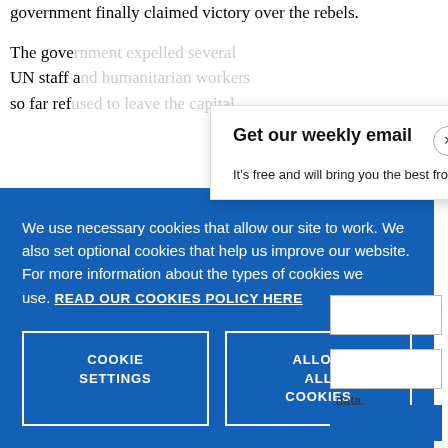government finally claimed victory over the rebels.
The gove[rnment] ... UN staff a[nd] ... so far ref[used] ...
[Figure (screenshot): Email signup modal popup with title 'Get our weekly email' and subtitle 'It’s free and will bring you the best from', with a close (x) button]
We use necessary cookies that allow our site to work. We also set optional cookies that help us improve our website. For more information about the types of cookies we use. READ OUR COOKIES POLICY HERE
COOKIE SETTINGS
ALLOW ALL COOKIES
data.